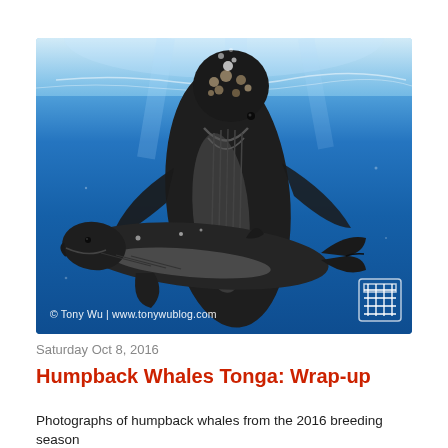[Figure (photo): Underwater photograph of two humpback whales — a large adult whale (head pointing upward toward the surface, visible barnacles on its rostrum) and a smaller calf swimming horizontally in front of it, set against deep blue ocean water with light filtering through the surface. Watermark: © Tony Wu | www.tonywublog.com. Decorative stamp logo in the bottom-right corner.]
Saturday Oct 8, 2016
Humpback Whales Tonga: Wrap-up
Photographs of humpback whales from the 2016 breeding season